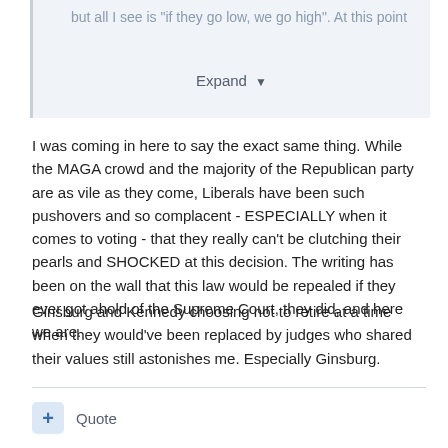but all I see is "if they go low, we go high". At this point
Expand
I was coming in here to say the exact same thing. While the MAGA crowd and the majority of the Republican party are as vile as they come, Liberals have been such pushovers and so complacent - ESPECIALLY when it comes to voting - that they really can't be clutching their pearls and SHOCKED at this decision. The writing has been on the wall that this law would be repealed if they ever got ahold of the Supreme Court, they did, and here we are.
Ginsburg and Kennedy choosing not to retire at a time when they would've been replaced by judges who shared their values still astonishes me. Especially Ginsburg.
Quote